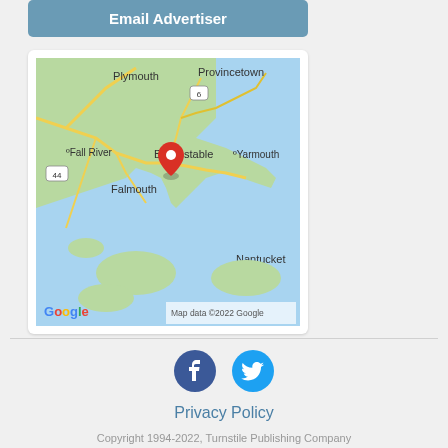Email Advertiser
[Figure (map): Google Map showing Cape Cod area of Massachusetts with a red location pin near Barnstable. Map shows Plymouth, Provincetown (route 6), Fall River, Barnstable, Yarmouth, Falmouth, Nantucket. Google logo and 'Map data ©2022 Google' credit visible.]
[Figure (logo): Facebook icon (dark navy circle with white F) and Twitter icon (cyan circle with white bird)]
Privacy Policy
Copyright 1994-2022, Turnstile Publishing Company
Powered by Invision Community